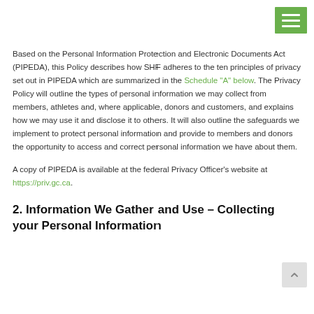[Menu button / navigation bar]
Based on the Personal Information Protection and Electronic Documents Act (PIPEDA), this Policy describes how SHF adheres to the ten principles of privacy set out in PIPEDA which are summarized in the Schedule "A" below. The Privacy Policy will outline the types of personal information we may collect from members, athletes and, where applicable, donors and customers, and explains how we may use it and disclose it to others. It will also outline the safeguards we implement to protect personal information and provide to members and donors the opportunity to access and correct personal information we have about them.
A copy of PIPEDA is available at the federal Privacy Officer's website at https://priv.gc.ca.
2. Information We Gather and Use – Collecting your Personal Information